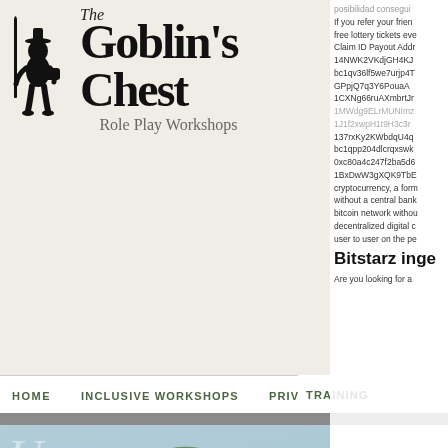[Figure (screenshot): Screenshot of 'The Goblin's Chest Role Play Workshops' website header with logo (goblin figure silhouette) and navigation bar showing HOME, INCLUSIVE WORKSHOPS, PRIVATE, TRAINING links. Below is a fantasy map. On the right side is overlaid text showing cryptocurrency wallet addresses and partial text about bitcoin/cryptocurrency, followed by 'Bitstarz inge' section header and 'Are you looking for a...' text.]